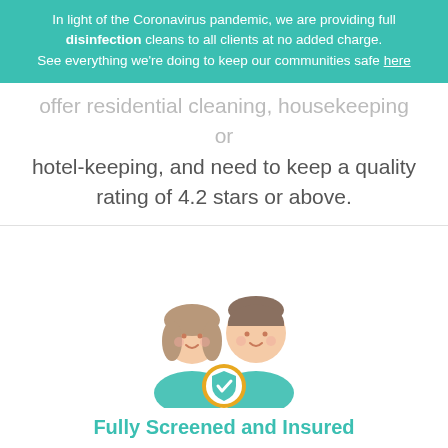In light of the Coronavirus pandemic, we are providing full disinfection cleans to all clients at no added charge. See everything we're doing to keep our communities safe here
offer residential cleaning, housekeeping or hotel-keeping, and need to keep a quality rating of 4.2 stars or above.
[Figure (illustration): Illustration of two people (a woman and a man) in teal shirts with a golden shield/checkmark badge in front of them]
Fully Screened and Insured
All our friendly Jarvis housekeepers are trusted members of your local community, and are police-checked and fully insured before stepping foot in a client's home.